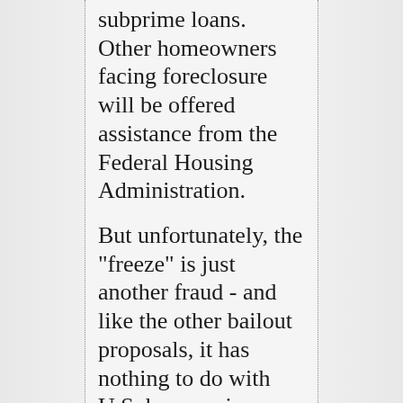subprime loans. Other homeowners facing foreclosure will be offered assistance from the Federal Housing Administration.
But unfortunately, the "freeze" is just another fraud - and like the other bailout proposals, it has nothing to do with U.S. house prices, with